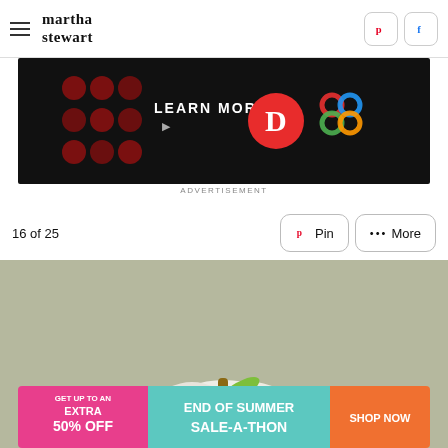martha stewart
[Figure (screenshot): Advertisement banner with 'LEARN MORE' text, red D circle logo, colorful celtic knot icon on dark background]
ADVERTISEMENT
16 of 25
[Figure (photo): White pumpkin with green stem, small green leaves and yellow flower decoration, against a gray-green background]
[Figure (screenshot): Bottom advertisement: GET UP TO AN EXTRA 50% OFF | END OF SUMMER SALE-A-THON | SHOP NOW]